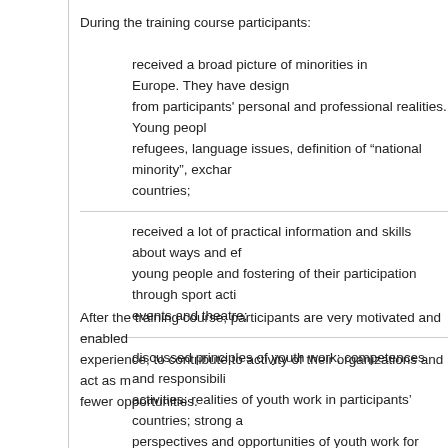During the training course participants:
received a broad picture of minorities in Europe. They have designed topics from participants' personal and professional realities. Young people discussed refugees, language issues, definition of “national minority”, exchanges between countries;
received a lot of practical information and skills about ways and effectiveness of young people and fostering of their participation through sport activities, cultural events and theatre;
discussed principles of youth work; competences and responsibilities of youth activities; realities of youth work in participants’ countries; strong aspects; perspectives and opportunities of youth work for participants; yout
After the training course, participants are very motivated and enabled experience, to contribute to activity of their organizations and act as m fewer opportunities.